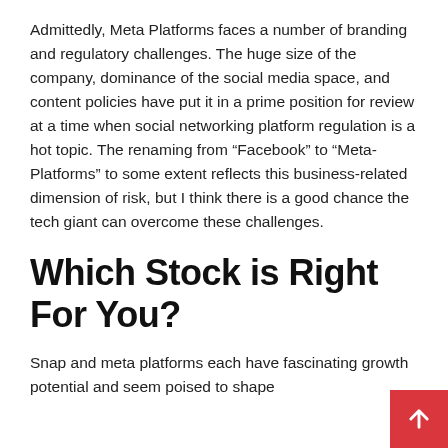Admittedly, Meta Platforms faces a number of branding and regulatory challenges. The huge size of the company, dominance of the social media space, and content policies have put it in a prime position for review at a time when social networking platform regulation is a hot topic. The renaming from “Facebook” to “Meta-Platforms” to some extent reflects this business-related dimension of risk, but I think there is a good chance the tech giant can overcome these challenges.
Which Stock is Right For You?
Snap and meta platforms each have fascinating growth potential and seem poised to shape